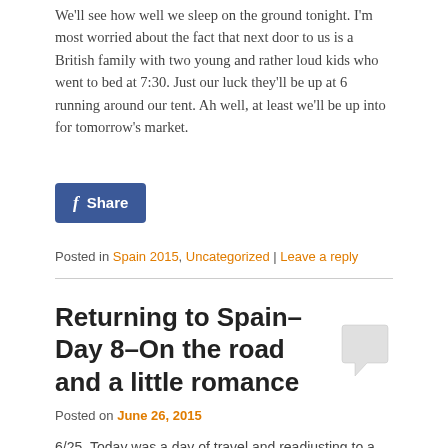We'll see how well we sleep on the ground tonight. I'm most worried about the fact that next door to us is a British family with two young and rather loud kids who went to bed at 7:30. Just our luck they'll be up at 6 running around our tent. Ah well, at least we'll be up into for tomorrow's market.
[Figure (other): Facebook Share button with 'f' logo and 'Share' text on blue background]
Posted in Spain 2015, Uncategorized | Leave a reply
Returning to Spain–Day 8–On the road and a little romance
[Figure (other): Comment speech bubble icon]
Posted on June 26, 2015
6/25–Today was a day of travel and readjusting to a new